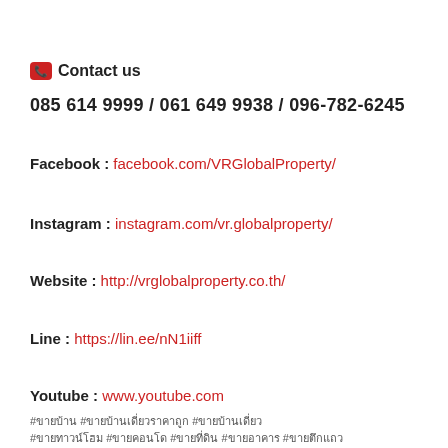📞 Contact us
085 614 9999 / 061 649 9938 / 096-782-6245
Facebook : facebook.com/VRGlobalProperty/
Instagram : instagram.com/vr.globalproperty/
Website : http://vrglobalproperty.co.th/
Line : https://lin.ee/nN1iiff
Youtube : www.youtube.com
#ขายบ้าน #ขายบ้านเดี่ยวราคาถูก #ขายบ้านเดี่ยว #ขายทาวน์โฮม #ขายคอนโด #ขายที่ดิน #ขายอาคาร #ขายตึกแถว